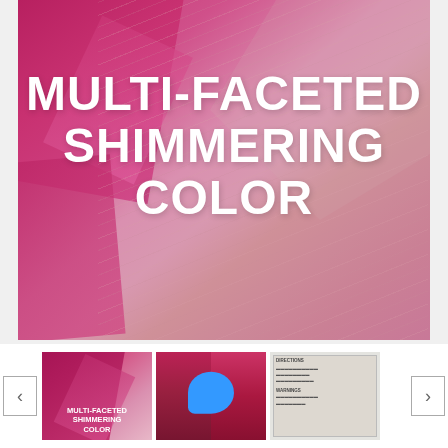[Figure (photo): Close-up of pink/rose-colored hair with large bold white text overlay reading MULTI-FACETED SHIMMERING COLOR. Left side has bright pink/magenta background with geometric diamond shapes.]
[Figure (photo): Thumbnail 1: Same main image - pink background with diamond shapes and text MULTI-FACETED SHIMMERING COLOR]
[Figure (photo): Thumbnail 2: L'Oreal hair color product box in red/pink with a blue chat bubble icon overlaid]
[Figure (photo): Thumbnail 3: Grey/white instruction sheet or product information card]